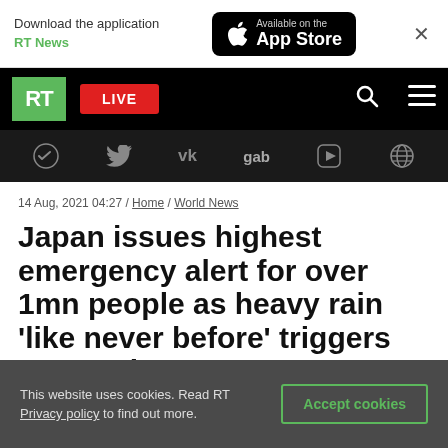[Figure (screenshot): App download banner with RT News logo, App Store button, and close X]
[Figure (screenshot): RT navigation bar with green RT logo, red LIVE button, search icon, hamburger menu]
[Figure (screenshot): Social media icons bar: Telegram, Twitter, VK, gab, Rumble, and another icon]
14 Aug, 2021 04:27 / Home / World News
Japan issues highest emergency alert for over 1mn people as heavy rain ‘like never before’ triggers evacuations
This website uses cookies. Read RT Privacy policy to find out more.